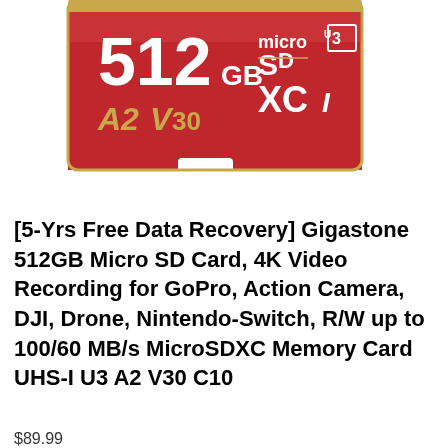[Figure (photo): Gigastone 512GB microSD card, red with gold accents, showing 512 GB, micro SD XC I logo, A2 V30, U3 markings]
[5-Yrs Free Data Recovery] Gigastone 512GB Micro SD Card, 4K Video Recording for GoPro, Action Camera, DJI, Drone, Nintendo-Switch, R/W up to 100/60 MB/s MicroSDXC Memory Card UHS-I U3 A2 V30 C10
$89.99